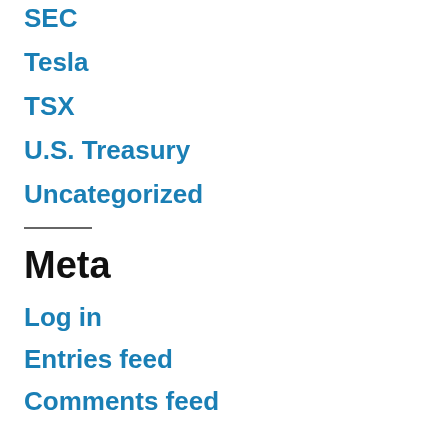SEC
Tesla
TSX
U.S. Treasury
Uncategorized
Meta
Log in
Entries feed
Comments feed